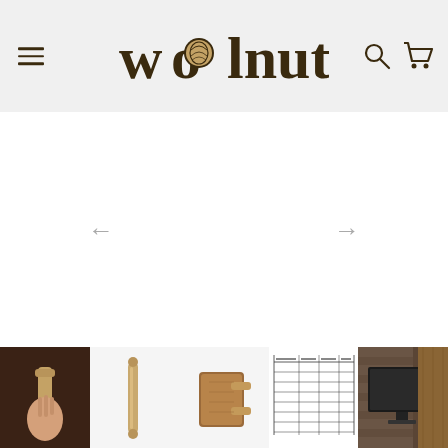[Figure (logo): Walnut brand logo with stylized walnut icon inside the letter O in 'wolnut', dark brown serif wordmark on light gray header background]
[Figure (screenshot): Main product image area (white/empty) with left and right navigation arrows for a product image carousel]
[Figure (photo): Thumbnail strip showing 5 product images: 1) hand holding a wooden door handle, 2) a simple brass/wooden cylindrical pull, 3) a wooden paddle-style door handle on bracket, 4) a specification/dimensions chart, 5) a flat-screen TV mounted on stone/brick wall with wooden panel]
wolnut